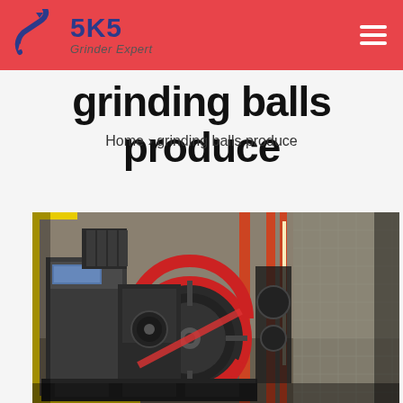SKS Grinder Expert
grinding balls produce
Home › grinding balls produce
[Figure (photo): Industrial grinding ball production machine in a factory setting. A large dark-colored mechanical press/rolling mill with a prominent circular red flywheel is shown in an industrial warehouse environment with orange structural beams and mesh fencing in the background.]